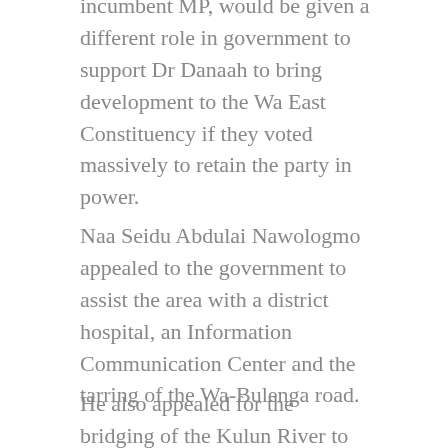incumbent MP, would be given a different role in government to support Dr Danaah to bring development to the Wa East Constituency if they voted massively to retain the party in power.
Naa Seidu Abdulai Nawologmo appealed to the government to assist the area with a district hospital, an Information Communication Center and the tarring of the Wa-Bulenga road.
He also appealed for the bridging of the Kulun River to link the place to the district capital at Funsi.